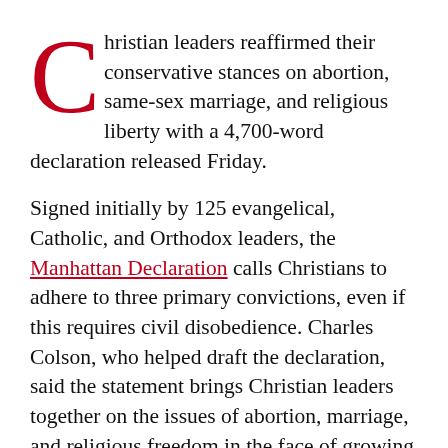Christian leaders reaffirmed their conservative stances on abortion, same-sex marriage, and religious liberty with a 4,700-word declaration released Friday.
Signed initially by 125 evangelical, Catholic, and Orthodox leaders, the Manhattan Declaration calls Christians to adhere to three primary convictions, even if this requires civil disobedience. Charles Colson, who helped draft the declaration, said the statement brings Christian leaders together on the issues of abortion, marriage, and religious freedom in the face of growing pressure.
“There are three issues that are foundational to a Christian perspective and society,” Colson told